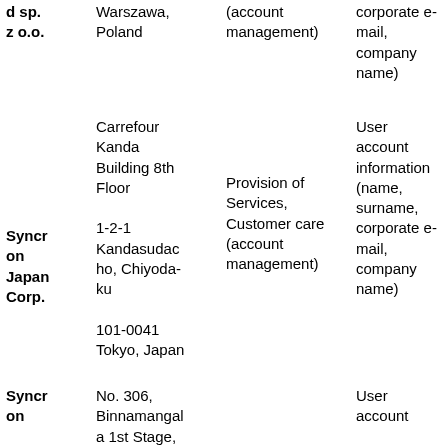| d sp. z o.o. | Warszawa, Poland | (account management) | corporate e-mail, company name) |
| Syncron Japan Corp. | Carrefour Kanda Building 8th Floor
1-2-1 Kandasudacho, Chiyoda-ku
101-0041 Tokyo, Japan | Provision of Services, Customer care (account management) | User account information (name, surname, corporate e-mail, company name) |
| Syncron on | No. 306, Binnamangala 1st Stage, 100 Foot... |  | User account... |